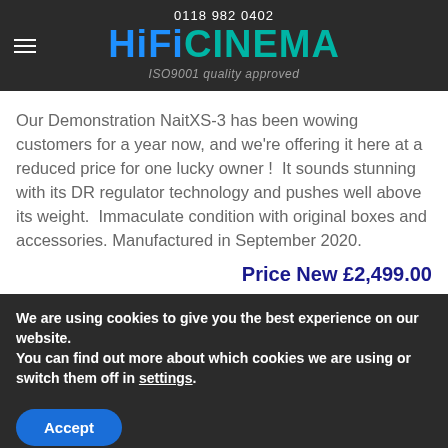0118 982 0402 | HiFiCINEMA | ISO9001 quality approved
Our Demonstration NaitXS-3 has been wowing customers for a year now, and we're offering it here at a reduced price for one lucky owner !  It sounds stunning with its DR regulator technology and pushes well above its weight.  Immaculate condition with original boxes and accessories. Manufactured in September 2020.
Price New £2,499.00
We are using cookies to give you the best experience on our website.
You can find out more about which cookies we are using or switch them off in settings.
Accept